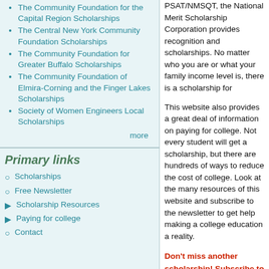The Community Foundation for the Capital Region Scholarships
The Central New York Community Foundation Scholarships
The Community Foundation for Greater Buffalo Scholarships
The Community Foundation of Elmira-Corning and the Finger Lakes Scholarships
Society of Women Engineers Local Scholarships
more
Primary links
Scholarships
Free Newsletter
Scholarship Resources
Paying for college
Contact
PSAT/NMSQT, the National Merit Scholarship Corporation provides recognition and scholarships. No matter who you are or what your family income level is, there is a scholarship for
This website also provides a great deal of information on paying for college. Not every student will get a scholarship, but there are hundreds of ways to reduce the cost of college. Look at the many resources of this website and subscribe to the newsletter to get help making a college education a reality.
Don't miss another scholarship! Subscribe to the free monthly newsletter and get scholarship information delivered directly to you (click this link).
The Scholarship Blog